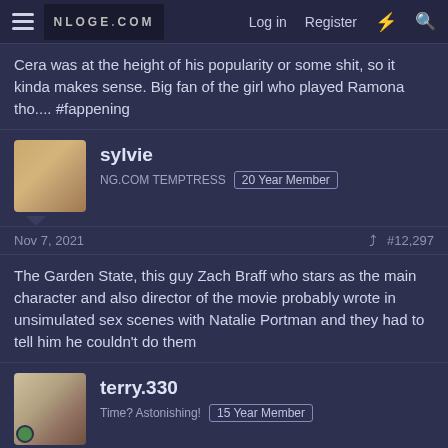NLOGE.COM  Log in  Register
Cera was at the height of his popularity or some shit, so it kinda makes sense. Big fan of the girl who played Ramona tho.... #fappening
sylvie
NG.COM TEMPTRESS  20 Year Member
Nov 7, 2021  #12,297
The Garden State, this guy Zach Braff who stars as the main character and also director of the movie probably wrote in unsimulated sex scenes with Natalie Portman and they had to tell him he couldn't do them
terry.330
Time? Astonishing!  15 Year Member
Nov 7, 2021  #12,298